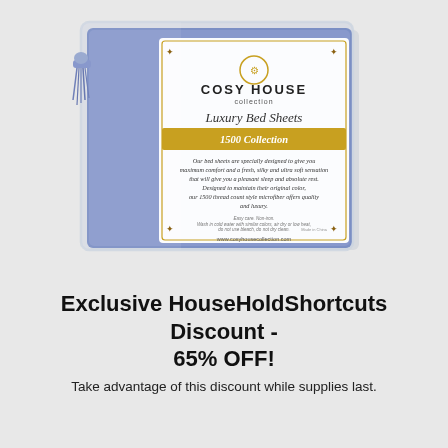[Figure (photo): A packaged Cosy House Collection Luxury Bed Sheets 1500 Collection in blue/periwinkle color, wrapped in clear plastic packaging with a white label showing the brand logo, product name, and description text. A blue tassel is visible on the left side.]
Exclusive HouseHoldShortcuts Discount - 65% OFF!
Take advantage of this discount while supplies last.